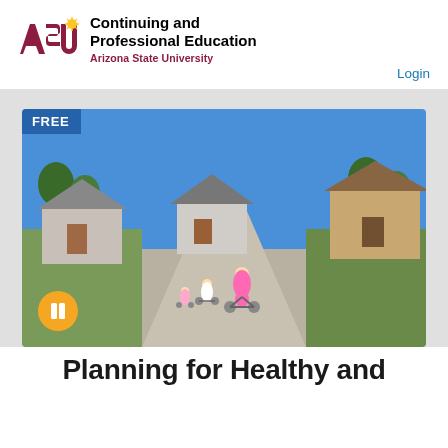[Figure (logo): ASU Continuing and Professional Education logo with Arizona State University text below]
Login
[Figure (photo): Children riding bicycles on a residential street with houses and trees in the background. A FREE badge appears in the top left corner and a play button icon at the bottom left.]
Planning for Healthy and